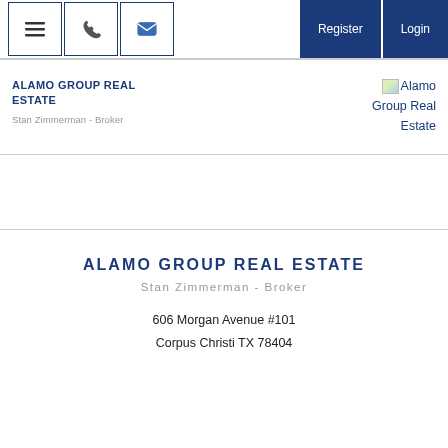≡  📞  ✉   Register  Login
ALAMO GROUP REAL ESTATE
Stan Zimmerman - Broker
[Figure (logo): Alamo Group Real Estate logo image placeholder with text 'Alamo Group Real Estate']
ALAMO GROUP REAL ESTATE
Stan Zimmerman - Broker
606 Morgan Avenue #101
Corpus Christi TX 78404